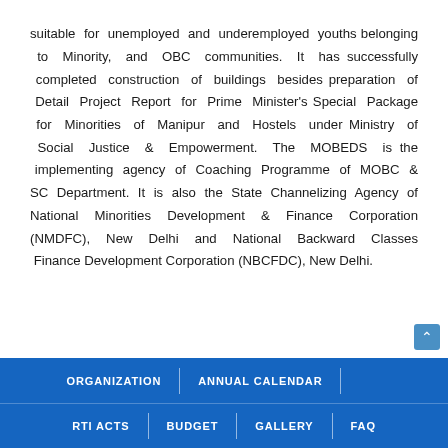suitable for unemployed and underemployed youths belonging to Minority, and OBC communities. It has successfully completed construction of buildings besides preparation of Detail Project Report for Prime Minister's Special Package for Minorities of Manipur and Hostels under Ministry of Social Justice & Empowerment. The MOBEDS is the implementing agency of Coaching Programme of MOBC & SC Department. It is also the State Channelizing Agency of National Minorities Development & Finance Corporation (NMDFC), New Delhi and National Backward Classes Finance Development Corporation (NBCFDC), New Delhi.
ORGANIZATION | ANNUAL CALENDAR | RTI ACTs | BUDGET | GALLERY | FAQ